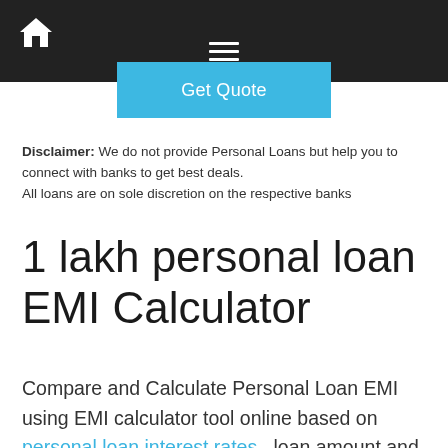Home | Menu (hamburger)
[Figure (other): Get Quote button in light blue/cyan color]
Disclaimer: We do not provide Personal Loans but help you to connect with banks to get best deals.
All loans are on sole discretion on the respective banks
1 lakh personal loan EMI Calculator
Compare and Calculate Personal Loan EMI using EMI calculator tool online based on personal loan interest rates , loan amount and repayment period